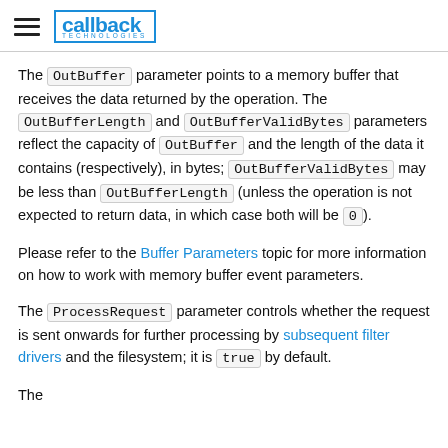callback technologies
The OutBuffer parameter points to a memory buffer that receives the data returned by the operation. The OutBufferLength and OutBufferValidBytes parameters reflect the capacity of OutBuffer and the length of the data it contains (respectively), in bytes; OutBufferValidBytes may be less than OutBufferLength (unless the operation is not expected to return data, in which case both will be 0).
Please refer to the Buffer Parameters topic for more information on how to work with memory buffer event parameters.
The ProcessRequest parameter controls whether the request is sent onwards for further processing by subsequent filter drivers and the filesystem; it is true by default.
The ResultCode parameter will be...